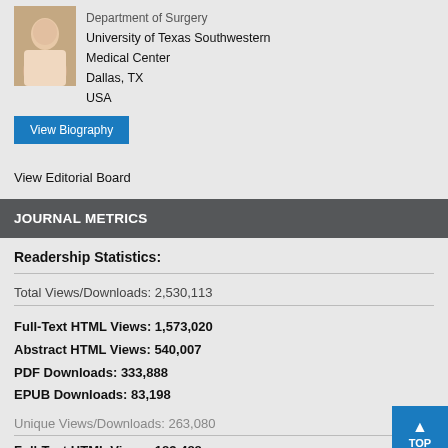[Figure (photo): Headshot photo of a woman, partial view at top]
Department of Surgery
University of Texas Southwestern Medical Center
Dallas, TX
USA
View Biography
View Editorial Board
JOURNAL METRICS
Readership Statistics:
Total Views/Downloads: 2,530,113
Full-Text HTML Views: 1,573,020
Abstract HTML Views: 540,007
PDF Downloads: 333,888
EPUB Downloads: 83,198
Unique Views/Downloads: 263,080
Full-Text HTML Views: 183,488